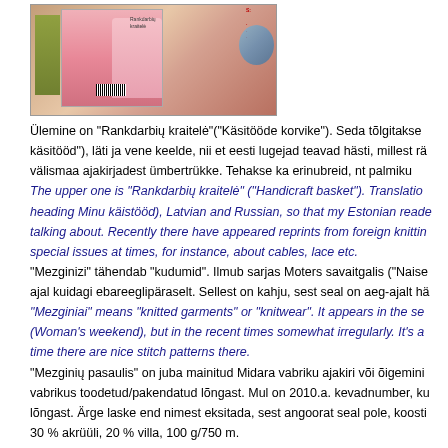[Figure (photo): Photo of a knitting magazine 'Rankdarbiu kraitelė' showing a woman in a pink knitted sweater on the cover, placed on a wooden surface alongside another smaller book.]
Ülemine on "Rankdarbių kraitelė"("Käsitööde korvike"). Seda tõlgitakse käsitööd"), läti ja vene keelde, nii et eesti lugejad teavad hästi, millest rä välismaa ajakirjadest ümbertrükke. Tehakse ka erinubreid, nt palmiku
The upper one is "Rankdarbių kraitelė" ("Handicraft basket"). Translatio heading Minu käistööd), Latvian and Russian, so that my Estonian reade talking about. Recently there have appeared reprints from foreign knittin special issues at times, for instance, about cables, lace etc.
"Mezginizi" tähendab "kudumid". Ilmub sarjas Moters savaitgalis ("Naise ajal kuidagi ebareeglipäraselt. Sellest on kahju, sest seal on aeg-ajalt hä
"Mezginiai" means "knitted garments" or "knitwear". It appears in the se (Woman's weekend), but in the recent times somewhat irregularly. It's a time there are nice stitch patterns there.
"Mezginių pasaulis" on juba mainitud Midara vabriku ajakiri või õigemini vabrikus toodetud/pakendatud lõngast. Mul on 2010.a. kevadnumber, ku lõngast. Ärge laske end nimest eksitada, sest angoorat seal pole, koosti 30 % akrüüli, 20 % villa, 100 g/750 m.
"Mezginių pasaulis" is a magazine or even a brochure, published by the factory. The content is from the yarns produced and packed in the f